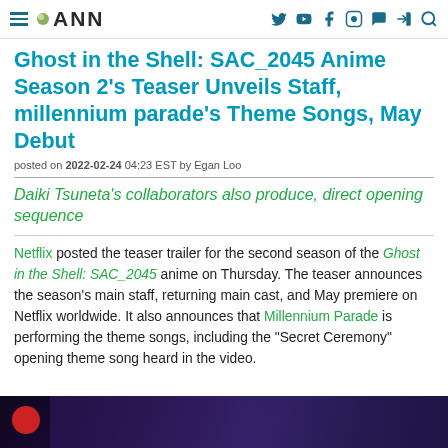ANN (Anime News Network) navigation bar
Ghost in the Shell: SAC_2045 Anime Season 2's Teaser Unveils Staff, millennium parade's Theme Songs, May Debut
posted on 2022-02-24 04:23 EST by Egan Loo
Daiki Tsuneta's collaborators also produce, direct opening sequence
Netflix posted the teaser trailer for the second season of the Ghost in the Shell: SAC_2045 anime on Thursday. The teaser announces the season's main staff, returning main cast, and May premiere on Netflix worldwide. It also announces that Millennium Parade is performing the theme songs, including the "Secret Ceremony" opening theme song heard in the video.
[Figure (photo): Dark thumbnail image showing a character from Ghost in the Shell: SAC_2045, with a red circle visible on the left side against a dark purple/blue background.]